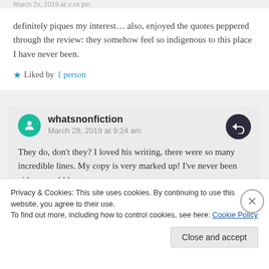March 2x, 2019 at x:xx pm
definitely piques my interest… also, enjoyed the quotes peppered through the review: they somehow feel so indigenous to this place I have never been.
★ Liked by 1 person
whatsnonfiction
March 28, 2019 at 9:24 am
They do, don't they? I loved his writing, there were so many incredible lines. My copy is very marked up! I've never been either, would love to go
Privacy & Cookies: This site uses cookies. By continuing to use this website, you agree to their use.
To find out more, including how to control cookies, see here: Cookie Policy